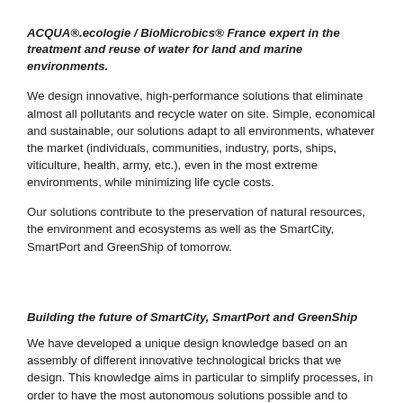ACQUA®.ecologie / BioMicrobics® France expert in the treatment and reuse of water for land and marine environments.
We design innovative, high-performance solutions that eliminate almost all pollutants and recycle water on site. Simple, economical and sustainable, our solutions adapt to all environments, whatever the market (individuals, communities, industry, ports, ships, viticulture, health, army, etc.), even in the most extreme environments, while minimizing life cycle costs.
Our solutions contribute to the preservation of natural resources, the environment and ecosystems as well as the SmartCity, SmartPort and GreenShip of tomorrow.
Building the future of SmartCity, SmartPort and GreenShip
We have developed a unique design knowledge based on an assembly of different innovative technological bricks that we design. This knowledge aims in particular to simplify processes, in order to have the most autonomous solutions possible and to overcome the skills of users. This results in more economical, more durable and high-performance solutions, all of which are always adapted to the real needs of customers.